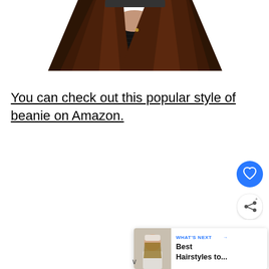[Figure (photo): Partial photo of a woman wearing a dark/black ribbed sweater with long brown hair, cropped at the top showing neck and hair area, with a beanie hat partially visible at top]
You can check out this popular style of beanie on Amazon.
[Figure (other): Blue circular heart/favorite button icon]
[Figure (other): White circular share button icon with share symbol]
[Figure (other): What's Next card showing thumbnail of woman in beanie with text 'WHAT'S NEXT → Best Hairstyles to...']